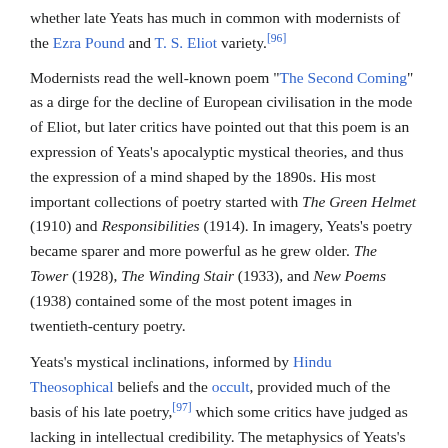whether late Yeats has much in common with modernists of the Ezra Pound and T. S. Eliot variety.[96]
Modernists read the well-known poem "The Second Coming" as a dirge for the decline of European civilisation in the mode of Eliot, but later critics have pointed out that this poem is an expression of Yeats's apocalyptic mystical theories, and thus the expression of a mind shaped by the 1890s. His most important collections of poetry started with The Green Helmet (1910) and Responsibilities (1914). In imagery, Yeats's poetry became sparer and more powerful as he grew older. The Tower (1928), The Winding Stair (1933), and New Poems (1938) contained some of the most potent images in twentieth-century poetry.
Yeats's mystical inclinations, informed by Hindu Theosophical beliefs and the occult, provided much of the basis of his late poetry,[97] which some critics have judged as lacking in intellectual credibility. The metaphysics of Yeats's late works must be read in relation to his system of esoteric fundamentals in A Vision (1925).[98]
References